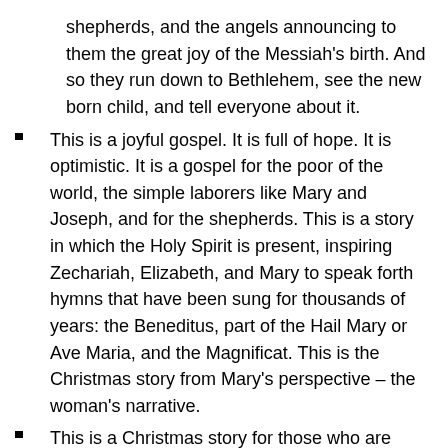shepherds, and the angels announcing to them the great joy of the Messiah’s birth. And so they run down to Bethlehem, see the new born child, and tell everyone about it.
This is a joyful gospel. It is full of hope. It is optimistic. It is a gospel for the poor of the world, the simple laborers like Mary and Joseph, and for the shepherds. This is a story in which the Holy Spirit is present, inspiring Zechariah, Elizabeth, and Mary to speak forth hymns that have been sung for thousands of years: the Beneditus, part of the Hail Mary or Ave Maria, and the Magnificat. This is the Christmas story from Mary’s perspective – the woman’s narrative.
This is a Christmas story for those who are marginalized, who need hope, who are looking for the Spirit of God transforming things. We see in Mary a